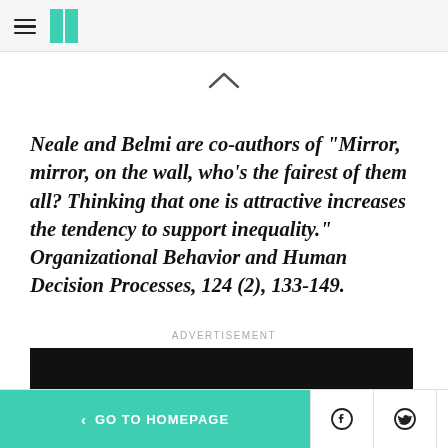HuffPost navigation header with hamburger menu and logo
Neale and Belmi are co-authors of "Mirror, mirror, on the wall, who's the fairest of them all? Thinking that one is attractive increases the tendency to support inequality." Organizational Behavior and Human Decision Processes, 124 (2), 133-149.
ADVERTISEMENT
[Figure (other): Black advertisement banner placeholder]
< GO TO HOMEPAGE | Facebook icon | Twitter icon | X close